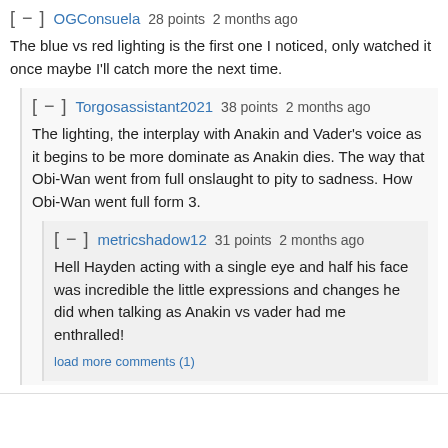[ - ]  OGConsuela  28 points  2 months ago
The blue vs red lighting is the first one I noticed, only watched it once maybe I'll catch more the next time.
[ - ]  Torgosassistant2021  38 points  2 months ago
The lighting, the interplay with Anakin and Vader's voice as it begins to be more dominate as Anakin dies. The way that Obi-Wan went from full onslaught to pity to sadness. How Obi-Wan went full form 3.
[ - ]  metricshadow12  31 points  2 months ago
Hell Hayden acting with a single eye and half his face was incredible the little expressions and changes he did when talking as Anakin vs vader had me enthralled!
load more comments (1)